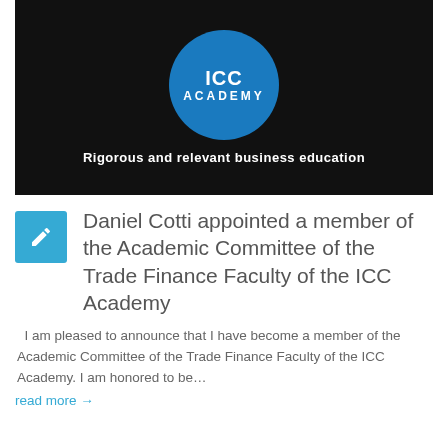[Figure (logo): ICC Academy banner with blue circle logo and tagline 'Rigorous and relevant business education' on dark background]
Daniel Cotti appointed a member of the Academic Committee of the Trade Finance Faculty of the ICC Academy
I am pleased to announce that I have become a member of the Academic Committee of the Trade Finance Faculty of the ICC Academy. I am honored to be…
read more →